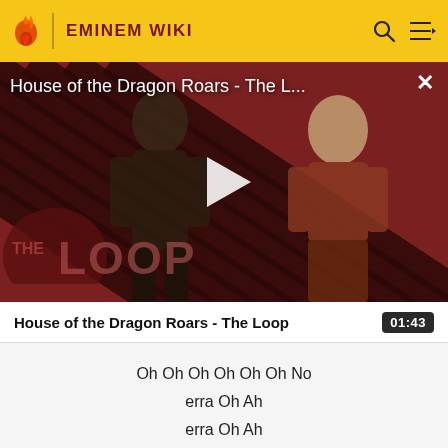EMINEM WIKI
[Figure (screenshot): Video thumbnail for 'House of the Dragon Roars - The L...' showing two characters from House of the Dragon on a diagonal striped red and dark background with 'THE LOOP' text logo, a white play button in the center, and a close (X) button in the top right.]
House of the Dragon Roars - The Loop
01:43
Oh Oh Oh Oh Oh Oh No
erra Oh Ah
erra Oh Ah